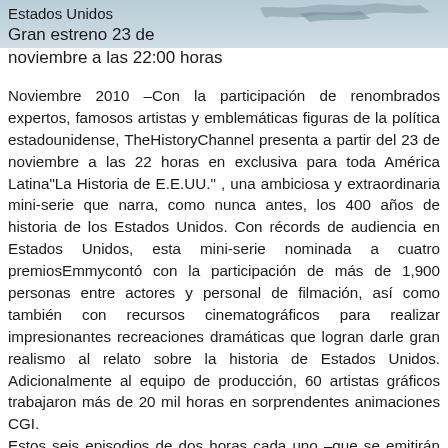[Figure (photo): Partial image of an eagle or bird in flight against a sky background, visible at top of page]
Estados Unidos
Gran estreno 23 de noviembre a las 22:00 horas
Noviembre 2010 –Con la participación de renombrados expertos, famosos artistas y emblemáticas figuras de la política estadounidense, TheHistoryChannel presenta a partir del 23 de noviembre a las 22 horas en exclusiva para toda América Latina"La Historia de E.E.UU." , una ambiciosa y extraordinaria mini-serie que narra, como nunca antes, los 400 años de historia de los Estados Unidos. Con récords de audiencia en Estados Unidos, esta mini-serie nominada a cuatro premiosEmmycontó con la participación de más de 1,900 personas entre actores y personal de filmación, así como también con recursos cinematográficos para realizar impresionantes recreaciones dramáticas que logran darle gran realismo al relato sobre la historia de Estados Unidos. Adicionalmente al equipo de producción, 60 artistas gráficos trabajaron más de 20 mil horas en sorprendentes animaciones CGI. Estos seis episodios de dos horas cada uno –que se emitirán del 23 al 28 de noviembre- exponen una gran variedad de entrevistas y reflexiones de académicos, expertos, historiadores y personajes prominentes de la ti